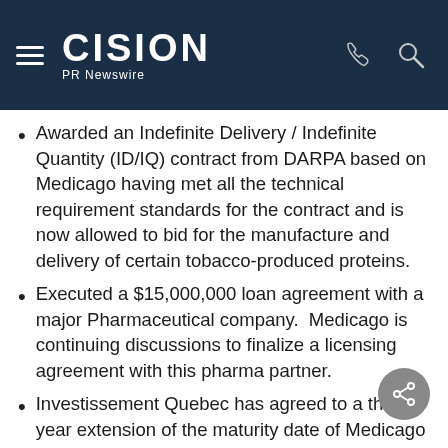CISION PR Newswire
Awarded an Indefinite Delivery / Indefinite Quantity (ID/IQ) contract from DARPA based on Medicago having met all the technical requirement standards for the contract and is now allowed to bid for the manufacture and delivery of certain tobacco-produced proteins.
Executed a $15,000,000 loan agreement with a major Pharmaceutical company. Medicago is continuing discussions to finalize a licensing agreement with this pharma partner.
Investissement Quebec has agreed to a three-year extension of the maturity date of Medicago Inc.'s 2003 loan made under the BioLevier program. Originally, the maturity date of the